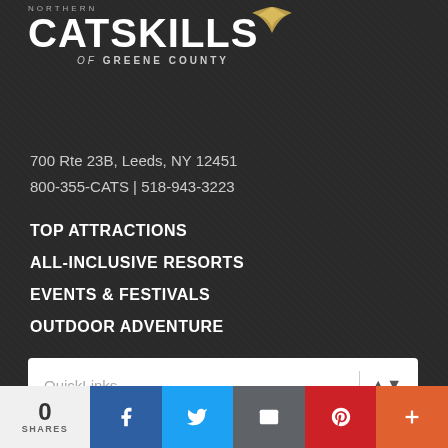[Figure (logo): Northern Catskills of Greene County logo — large white CATSKILLS text with golden leaf accent and smaller gray subtitle text]
700 Rte 23B, Leeds, NY 12451
800-355-CATS | 518-943-3223
TOP ATTRACTIONS
ALL-INCLUSIVE RESORTS
EVENTS & FESTIVALS
OUTDOOR ADVENTURE
[Figure (screenshot): QuickLinks dropdown selector with placeholder text]
[Figure (other): Social share bar: 0 SHARES, Facebook, Twitter, Email, Pinterest, and more buttons]